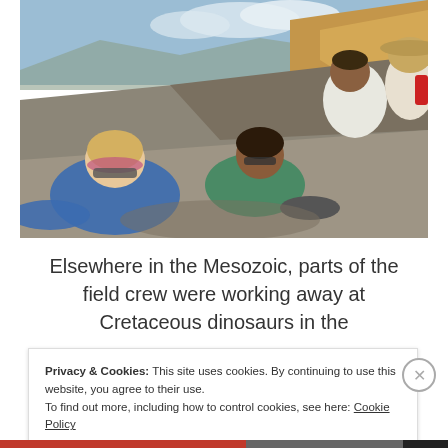[Figure (photo): Field crew of paleontologists excavating fossils on a rocky hillside in an arid landscape. In the foreground, a person in a blue shirt leans close to the ground. Another person in a green top also excavates nearby. Two more researchers are visible in the background on the rocky slope. Mountains and open sky visible in the distance.]
Elsewhere in the Mesozoic, parts of the field crew were working away at Cretaceous dinosaurs in the
Privacy & Cookies: This site uses cookies. By continuing to use this website, you agree to their use.
To find out more, including how to control cookies, see here: Cookie Policy